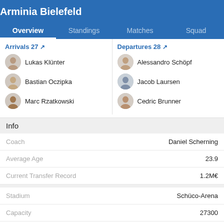Arminia Bielefeld
Overview | Standings | Matches | Squad
Arrivals 27 ↗
Lukas Klünter
Bastian Oczipka
Marc Rzatkowski
Departures 28 ↗
Alessandro Schöpf
Jacob Laursen
Cedric Brunner
Info
| Label | Value |
| --- | --- |
| Coach | Daniel Scherning |
| Average Age | 23.9 |
| Current Transfer Record | 1.2M€ |
| Stadium | Schüco-Arena |
| Capacity | 27300 |
| City | Bielefeld,Germany |